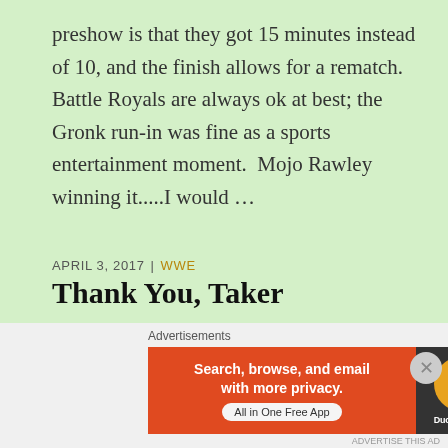preshow is that they got 15 minutes instead of 10, and the finish allows for a rematch.  Battle Royals are always ok at best; the Gronk run-in was fine as a sports entertainment moment.  Mojo Rawley winning it.....I would …
CONTINUE READING
APRIL 3, 2017  |  WWE
Thank You, Taker
[Figure (screenshot): DuckDuckGo advertisement banner: orange left side with text 'Search, browse, and email with more privacy. All in One Free App', dark right side with DuckDuckGo duck logo]